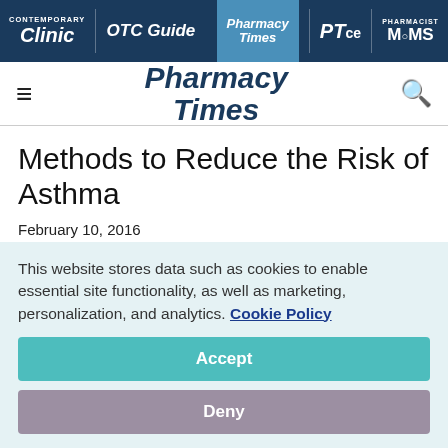Contemporary Clinic | OTC Guide | Pharmacy Times | PTce | Pharmacist Moms
[Figure (logo): Pharmacy Times logo with hamburger menu and search icon]
Methods to Reduce the Risk of Asthma
February 10, 2016
Rachel Lutz
This website stores data such as cookies to enable essential site functionality, as well as marketing, personalization, and analytics. Cookie Policy
Accept
Deny